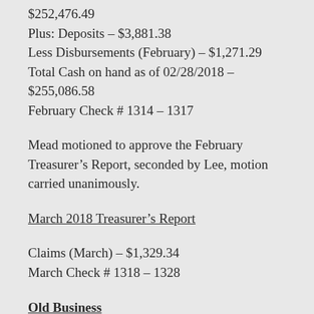$252,476.49
Plus: Deposits – $3,881.38
Less Disbursements (February) – $1,271.29
Total Cash on hand as of 02/28/2018 – $255,086.58
February Check # 1314 – 1317
Mead motioned to approve the February Treasurer's Report, seconded by Lee, motion carried unanimously.
March 2018 Treasurer's Report
Claims (March) – $1,329.34
March Check # 1318 – 1328
Old Business